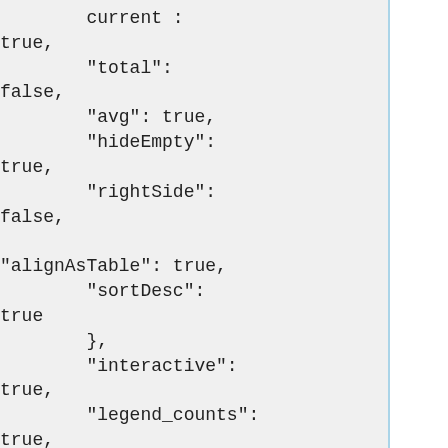current : true,
"total": false,
"avg": true,
"hideEmpty": true,
"rightSide": false,

"alignAsTable": true,
"sortDesc": true
},
"interactive": true,
"legend_counts": true,
"timezone": "browser",
"percentage": true,
"zerofill": true,
"nullPointMode":